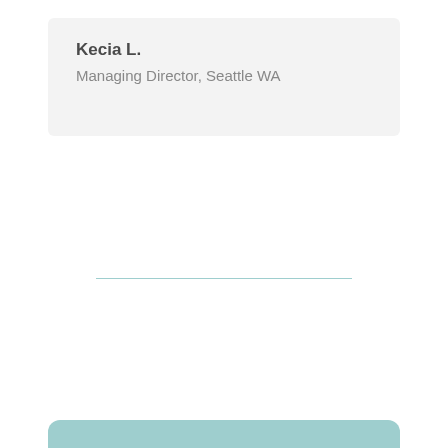Kecia L.
Managing Director, Seattle WA